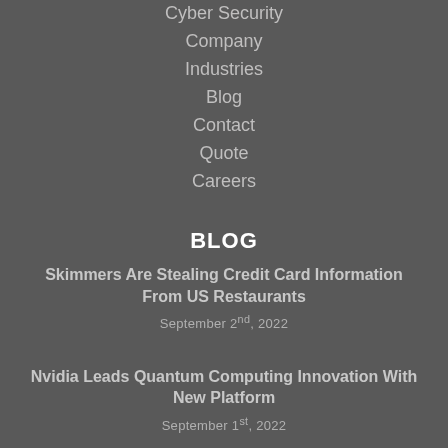Cyber Security
Company
Industries
Blog
Contact
Quote
Careers
BLOG
Skimmers Are Stealing Credit Card Information From US Restaurants
September 2nd, 2022
Nvidia Leads Quantum Computing Innovation With New Platform
September 1st, 2022